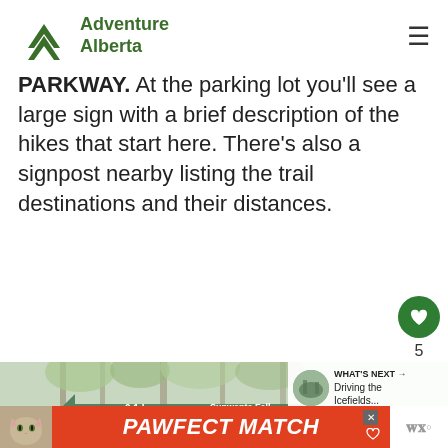Adventure Alberta
PARKWAY. At the parking lot you'll see a large sign with a brief description of the hikes that start here. There's also a signpost nearby listing the trail destinations and their distances.
[Figure (photo): A green directional trail sign showing '0.1 km' and 'Sunwapta Falls Chutes Sunwapta' with trees in the background, overlaid with a 'What's Next - Driving the Icefields...' widget and a 'PAWFECT MATCH' advertisement banner.]